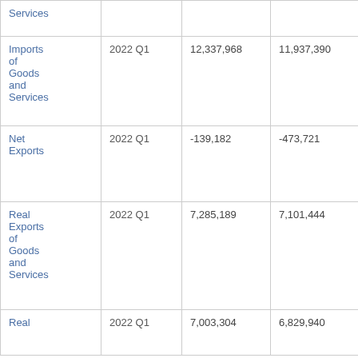| Services |  |  |  |  |
| Imports of Goods and Services | 2022 Q1 | 12,337,968 | 11,937,390 | Mil. MXN, SAAR |
| Net Exports | 2022 Q1 | -139,182 | -473,721 | Mil. MXN, SAAR |
| Real Exports of Goods and Services | 2022 Q1 | 7,285,189 | 7,101,444 | Mil. 2013 MXN, SAAR |
| Real | 2022 Q1 | 7,003,304 | 6,829,940 | Mil. |